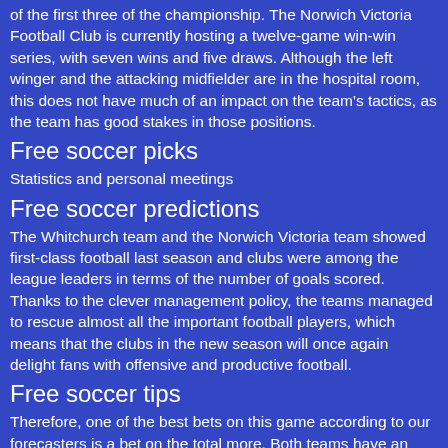of the first three of the championship. The Norwich Victoria Football Club is currently hosting a twelve-game win-win series, with seven wins and five draws. Although the left winger and the attacking midfielder are in the hospital room, this does not have much of an impact on the team's tactics, as the team has good stakes in those positions.
Free soccer picks
Statistics and personal meetings
Free soccer predictions
The Whitchurch team and the Norwich Victoria team showed first-class football last season and clubs were among the league leaders in terms of the number of goals scored. Thanks to the clever management policy, the teams managed to rescue almost all the important football players, which means that the clubs in the new season will once again delight fans with offensive and productive football.
Free soccer tips
Therefore, one of the best bets on this game according to our forecasters is a bet on the total more. Both teams have an excellent offensive and a center line, while both clubs are offensive. In general, a variety of factors speak for our choice, so we recommend this bet. We chose the favorite of this confrontation and tended to join the home team, as the team played very confidently in their home walls last season and even the championship leaders found it very hard to win the Whitchurch team field. We are confident that team.